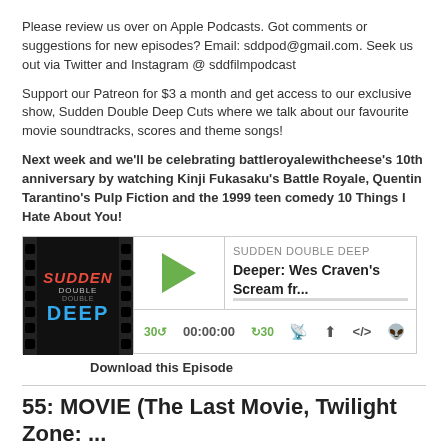Please review us over on Apple Podcasts. Got comments or suggestions for new episodes? Email: sddpod@gmail.com. Seek us out via Twitter and Instagram @ sddfilmpodcast
Support our Patreon for $3 a month and get access to our exclusive show, Sudden Double Deep Cuts where we talk about our favourite movie soundtracks, scores and theme songs!
Next week and we'll be celebrating battleroyalewithcheese's 10th anniversary by watching Kinji Fukasaku's Battle Royale, Quentin Tarantino's Pulp Fiction and the 1999 teen comedy 10 Things I Hate About You!
[Figure (screenshot): Podcast player widget showing 'SUDDEN DOUBLE DEEP' show with episode title 'Deeper: Wes Craven's Scream fr...' and playback controls including play button, time display 00:00:00, and icons for RSS, download, embed, and settings. Left side shows filmstrip-style album art with 'SUDDEN DOUBLE DEEP' text.]
Download this Episode
55: MOVIE (The Last Movie, Twilight Zone: ...
Aug 9, 2018